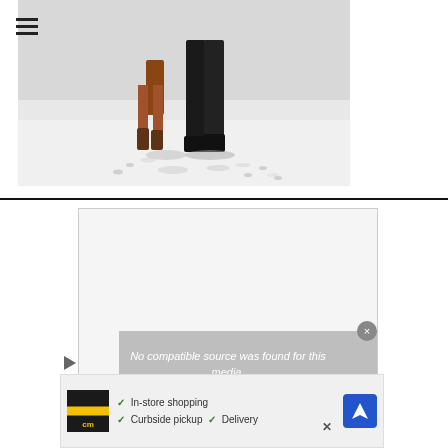[Figure (photo): Two people (shown from waist down) walking on a snowy or sandy white surface, leaving footprints behind them. One person wears shorts and boots, the other wears dark pants.]
[Figure (screenshot): Embedded video player area showing a light gray background with an error message overlay reading 'No compatible source was found for this media.' A close button appears in the upper right corner of the overlay. Navigation controls including a play button and X close button appear at the left and bottom.]
[Figure (screenshot): Advertisement bar at bottom showing a CM logo in black/yellow, text with checkmarks listing 'In-store shopping', 'Curbside pickup', 'Delivery', and a blue diamond-shaped navigation/map icon on the right.]